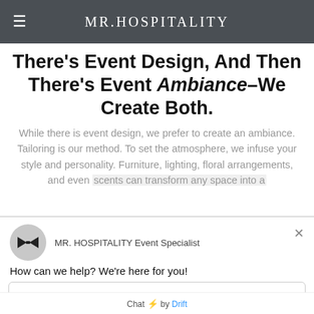MR. HOSPITALITY
There's Event Design, And Then There's Event Ambiance–We Create Both.
While there is event design, we prefer to create an ambiance. Tailoring is our method. To set the atmosphere, we infuse your style and personality. Furniture, lighting, floral arrangements, and even scents can transform any space into a
[Figure (screenshot): Chat widget overlay from MR. HOSPITALITY Event Specialist with greeting 'How can we help? We're here for you!' and a reply input box, powered by Drift]
MR. HOSPITALITY Event Specialist
How can we help? We're here for you!
Reply to MR. HOSPITALITY Event Specialist
Chat ⚡ by Drift